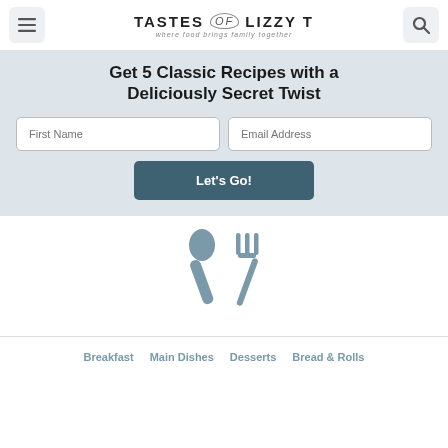TASTES of LIZZY T — where food brings family together
Get 5 Classic Recipes with a Deliciously Secret Twist
First Name [input field]
Email Address [input field]
Let's Go! [button]
[Figure (illustration): Crossed spoon and fork icon in muted steel blue color]
Breakfast   Main Dishes   Desserts   Bread & Rolls